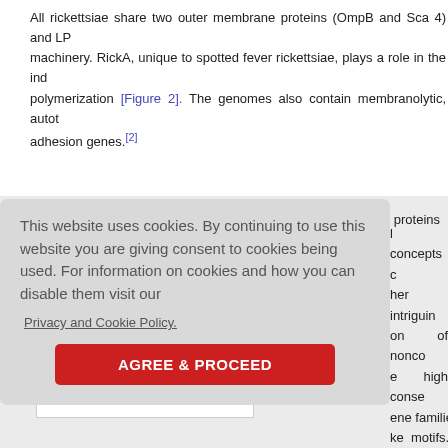All rickettsiae share two outer membrane proteins (OmpB and Sca 4) and LP machinery. RickA, unique to spotted fever rickettsiae, plays a role in the inc polymerization [Figure 2]. The genomes also contain membranolytic, autot adhesion genes.[2]
[Figure (illustration): Diagram showing rickettsial protein-mediated actin polymerization and cell internalization, with legend showing invasin-2, childrei, and actin.]
Figure 2: Rickettsial proteins aiding in and pathogenesis
Click here to view
This website uses cookies. By continuing to use this website you are giving consent to cookies being used. For information on cookies and how you can disable them visit our
Privacy and Cookie Policy.
AGREE & PROCEED
l concepts c her intriguin on of nonco e high conse ene families ke motifs. T cial role in a e fraction of al gene tra